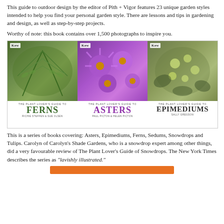This guide to outdoor design by the editor of Pith + Vigor features 23 unique garden styles intended to help you find your personal garden style. There are lessons and tips in gardening and design, as well as step-by-step projects.
Worthy of note: this book contains over 1,500 photographs to inspire you.
[Figure (photo): Three book covers from The Plant Lover's Guide series: Ferns, Asters, and Epimediums, each showing a close-up plant photograph above the title and Kew branding.]
This is a series of books covering: Asters, Epimediums, Ferns, Sedums, Snowdrops and Tulips. Carolyn of Carolyn's Shade Gardens, who is a snowdrop expert among other things, did a very favourable review of The Plant Lover's Guide of Snowdrops. The New York Times describes the series as "lavishly illustrated."